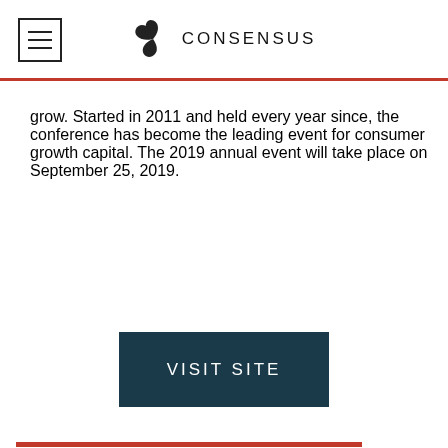CONSENSUS
grow. Started in 2011 and held every year since, the conference has become the leading event for consumer growth capital. The 2019 annual event will take place on September 25, 2019.
VISIT SITE
[Figure (illustration): Newspaper icon — stylized illustration of a newspaper with text lines]